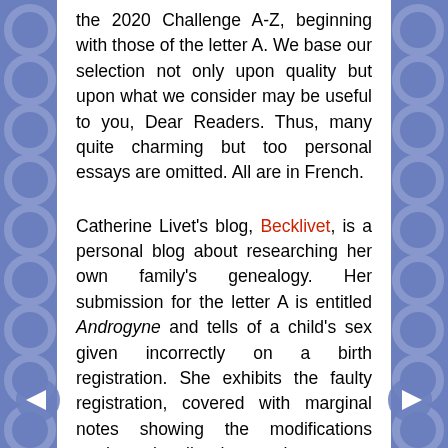the 2020 Challenge A-Z, beginning with those of the letter A. We base our selection not only upon quality but upon what we consider may be useful to you, Dear Readers. Thus, many quite charming but too personal essays are omitted. All are in French.
Catherine Livet's blog, Becklivet, is a personal blog about researching her own family's genealogy. Her submission for the letter A is entitled Androgyne and tells of a child's sex given incorrectly on a birth registration. She exhibits the faulty registration, covered with marginal notes showing the modifications made to legally change the sex, so that the person could marry. The post is brief and very